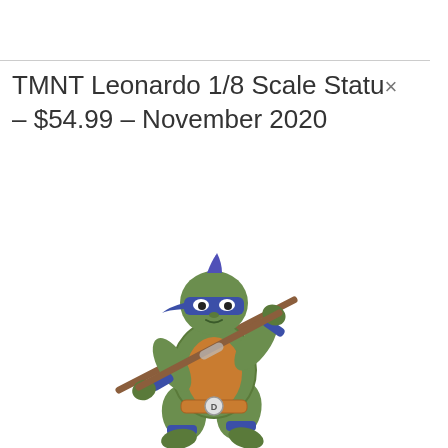TMNT Leonardo 1/8 Scale Statu× – $54.99 – November 2020
[Figure (illustration): TMNT Donatello 1/8 scale statue figure holding a bo staff, wearing blue mask and belt with D buckle, green body with orange plastron chest, blue wrist and ankle bands]